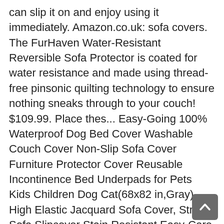can slip it on and enjoy using it immediately. Amazon.co.uk: sofa covers. The FurHaven Water-Resistant Reversible Sofa Protector is coated for water resistance and made using thread-free pinsonic quilting technology to ensure nothing sneaks through to your couch! $109.99. Place thes... Easy-Going 100% Waterproof Dog Bed Cover Washable Couch Cover Non-Slip Sofa Cover Furniture Protector Cover Reusable Incontinence Bed Underpads for Pets Kids Children Dog Cat(68x82 in,Gray). High Elastic Jacquard Sofa Cover, Stretch Sofa Slipcover Stain Resistant Easy-Care Full Cover Couch Cover for Sectional Sofa L Shape Corner Sofa-4 Seat 235 … Choose couch covers from over 70 fabrics & customisations. 1/4/6Pc Wedding Banquet Chair Covers Spandex Stretch Seat Slipcovers Dining Room. The luxurious sofa cover has silicon rubber anti-slip backing which strongly helps more to keep covers stay in place even on a leather sofa. You May Also Like. Easy-Going Stretch Sofa Slipcover 1-Piece Couch Sofa Cover Furniture Protector Soft with Elastic Bot… Easy-Going Stretch Sofa Slipcover 1-Piece Sofa Cover Furniture Protector Couch Soft